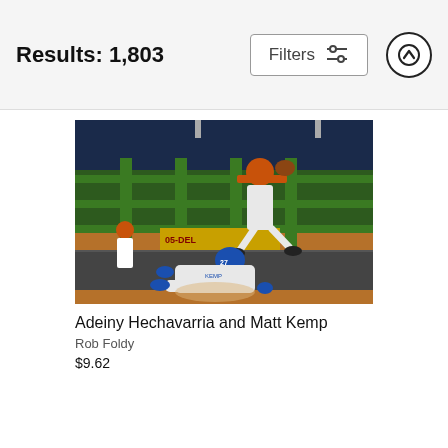Results: 1,803
[Figure (photo): Baseball action photo showing Adeiny Hechavarria jumping over Matt Kemp sliding into second base during a MLB game. Hechavarria wears an orange uniform, Kemp wears a blue helmet and white uniform with number 27. Green stadium features visible in background with crowd of spectators.]
Adeiny Hechavarria and Matt Kemp
Rob Foldy
$9.62